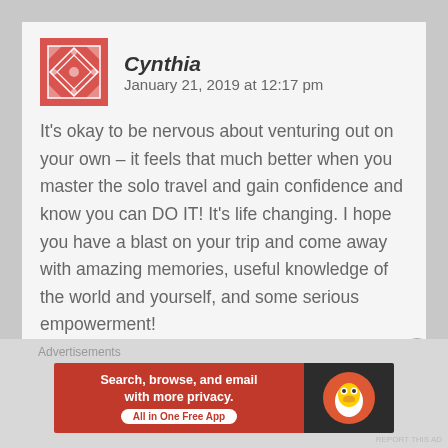[Figure (illustration): Red quilted/diamond pattern avatar icon for user Cynthia]
Cynthia   January 21, 2019 at 12:17 pm
It's okay to be nervous about venturing out on your own – it feels that much better when you master the solo travel and gain confidence and know you can DO IT! It's life changing. I hope you have a blast on your trip and come away with amazing memories, useful knowledge of the world and yourself, and some serious empowerment!
★ Liked by 1 person
Reply
Advertisements
[Figure (screenshot): DuckDuckGo advertisement banner: 'Search, browse, and email with more privacy. All in One Free App' with DuckDuckGo logo on dark right panel]